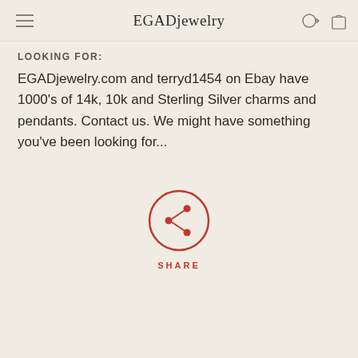EGADjewelry
LOOKING FOR:
EGADjewelry.com and terryd1454 on Ebay have 1000's of 14k, 10k and Sterling Silver charms and pendants. Contact us. We might have something you've been looking for...
[Figure (illustration): Red circle share button icon with share/network symbol inside]
SHARE